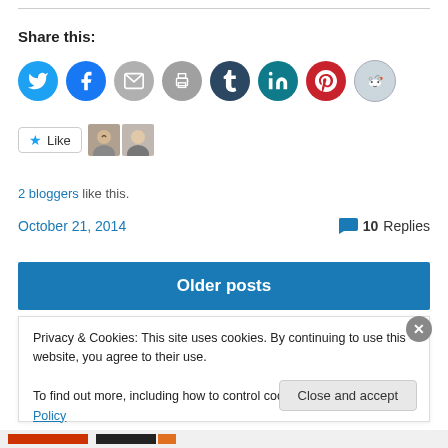Share this:
[Figure (infographic): Row of social sharing icon buttons: Twitter (blue), Facebook (blue), Email (grey), Print (grey), Tumblr (dark navy), LinkedIn (teal), Pinterest (red), Reddit (light grey)]
[Figure (infographic): WordPress Like button with star icon and two blogger avatars shown beside it]
2 bloggers like this.
October 21, 2014
10 Replies
Older posts
Privacy & Cookies: This site uses cookies. By continuing to use this website, you agree to their use.
To find out more, including how to control cookies, see here: Cookie Policy
Close and accept